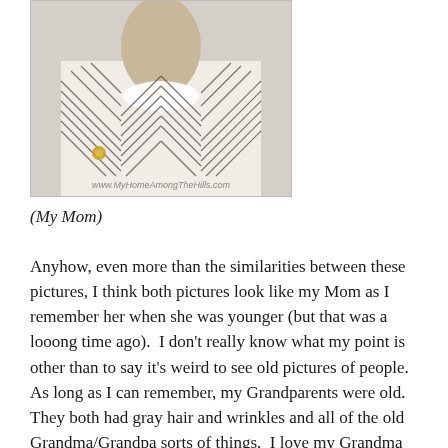[Figure (photo): An old black-and-white photograph of a woman wearing a striped chevron-patterned dress with a white collar. The photo is partially cropped. A watermark reads 'www.MyHomeAmongTheHills.com' at the bottom.]
(My Mom)
Anyhow, even more than the similarities between these pictures, I think both pictures look like my Mom as I remember her when she was younger (but that was a looong time ago).  I don't really know what my point is other than to say it’s weird to see old pictures of people.  As long as I can remember, my Grandparents were old.  They both had gray hair and wrinkles and all of the old Grandma/Grandpa sorts of things.  I love my Grandma tremendously and miss her indeed.  My Grandpa is 95 and still a riot.  I guess he probably has been old for as long as I